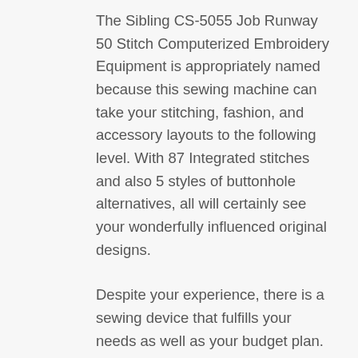The Sibling CS-5055 Job Runway 50 Stitch Computerized Embroidery Equipment is appropriately named because this sewing machine can take your stitching, fashion, and accessory layouts to the following level. With 87 Integrated stitches and also 5 styles of buttonhole alternatives, all will certainly see your wonderfully influenced original designs.
Despite your experience, there is a sewing device that fulfills your needs as well as your budget plan. Singer, Bernina, Brother, and Babylock are all popular quality producers of sewing devices that have attributes that will take your creative